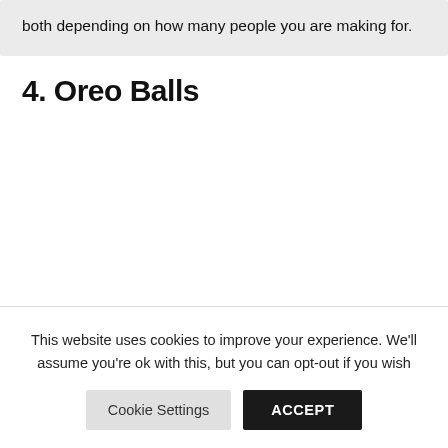both depending on how many people you are making for.
4. Oreo Balls
This website uses cookies to improve your experience. We'll assume you're ok with this, but you can opt-out if you wish